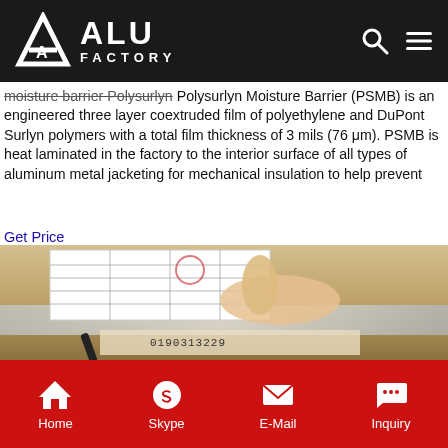ALU FACTORY
moisture barrier Polysurlyn Polysurlyn Moisture Barrier (PSMB) is an engineered three layer coextruded film of polyethylene and DuPont Surlyn polymers with a total film thickness of 3 mils (76 μm). PSMB is heat laminated in the factory to the interior surface of all types of aluminum metal jacketing for mechanical insulation to help prevent
Get Price
[Figure (photo): A hand pointing at a Japanese-language form/label attached to a metal surface, with a barcode and handwritten number 0190313229 visible on packaging below.]
Home  Skype  E-Mail  Inquiry